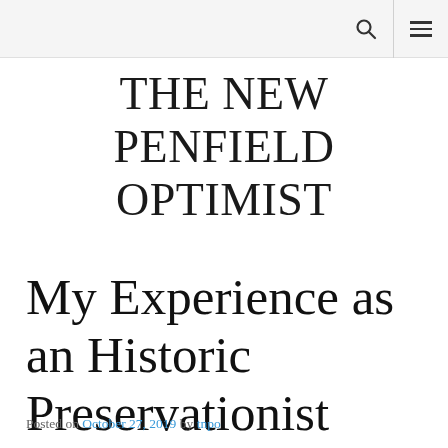THE NEW PENFIELD OPTIMIST
THE NEW PENFIELD OPTIMIST
My Experience as an Historic Preservationist
Posted on October 27, 2019 by tnpo